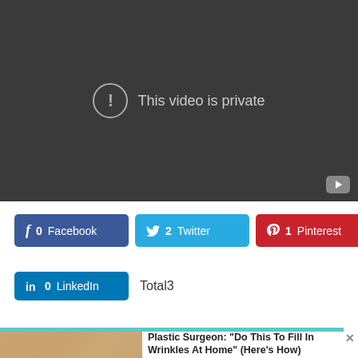[Figure (screenshot): Video player showing 'This video is private' message on dark background with YouTube play button icon in bottom right corner]
[Figure (screenshot): Social share buttons: Facebook (0), Twitter (2), Pinterest (1), LinkedIn (0), Total 3]
[Figure (photo): Advertisement showing a woman's face alongside text: Plastic Surgeon: "Do This To Fill In Wrinkles At Home" (Here's How) - Beverly Hills MD | Sponsored]